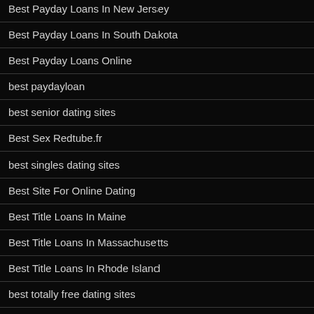Best Payday Loans In New Jersey
Best Payday Loans In South Dakota
Best Payday Loans Online
best paydayloan
best senior dating sites
Best Sex Redtube.fr
best singles dating sites
Best Site For Online Dating
Best Title Loans In Maine
Best Title Loans In Massachusetts
Best Title Loans In Rhode Island
best totally free dating sites
best travel apps for thailand